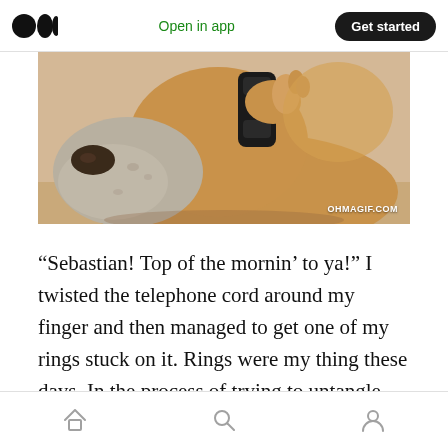Open in app  Get started
[Figure (photo): Close-up photo of a dog (golden/tan coloring) holding a black telephone handset to its ear, with watermark text OHMAGIF.COM in the lower right corner.]
“Sebastian! Top of the mornin’ to ya!” I twisted the telephone cord around my finger and then managed to get one of my rings stuck on it. Rings were my thing these days. In the process of trying to untangle myself, I dropped the phone onto my feet.
Home  Search  Profile